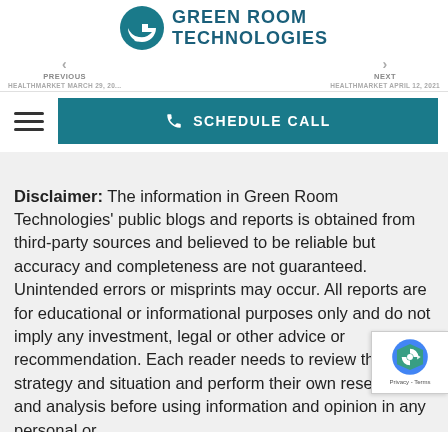[Figure (logo): Green Room Technologies logo with teal G icon and bold teal text reading GREEN ROOM TECHNOLOGIES]
PREVIOUS HEALTHMARKET MARCH 29, 20... | NEXT HEALTHMARKET APRIL 12, 2021
[Figure (infographic): Navigation bar with hamburger menu icon and a teal SCHEDULE CALL button with phone icon]
Disclaimer: The information in Green Room Technologies' public blogs and reports is obtained from third-party sources and believed to be reliable but accuracy and completeness are not guaranteed. Unintended errors or misprints may occur. All reports are for educational or informational purposes only and do not imply any investment, legal or other advice or recommendation. Each reader needs to review their own strategy and situation and perform their own research and analysis before using information and opinion in any personal or ...activity. All